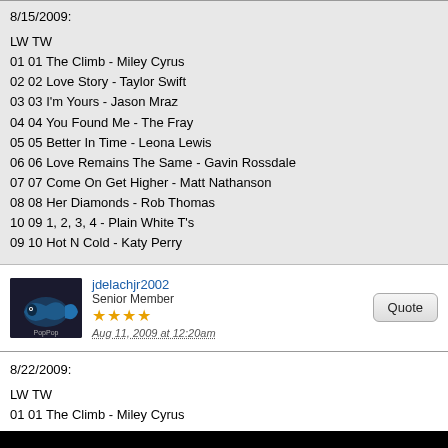8/15/2009:
LW TW
01 01 The Climb - Miley Cyrus
02 02 Love Story - Taylor Swift
03 03 I'm Yours - Jason Mraz
04 04 You Found Me - The Fray
05 05 Better In Time - Leona Lewis
06 06 Love Remains The Same - Gavin Rossdale
07 07 Come On Get Higher - Matt Nathanson
08 08 Her Diamonds - Rob Thomas
10 09 1, 2, 3, 4 - Plain White T's
09 10 Hot N Cold - Katy Perry
jdelachjr2002
Senior Member
★★★★
Aug 11, 2009 at 12:20am
8/22/2009:
LW TW
01 01 The Climb - Miley Cyrus